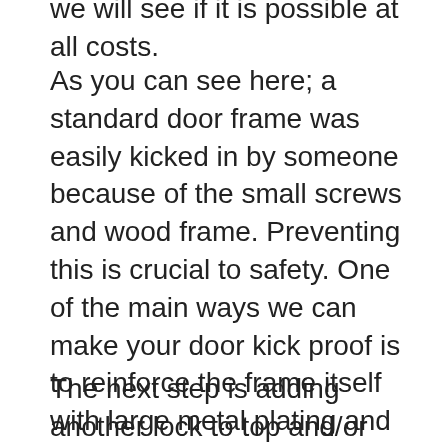we will see if it is possible at all costs.
As you can see here; a standard door frame was easily kicked in by someone because of the small screws and wood frame. Preventing this is crucial to safety. One of the main ways we can make your door kick proof is to reinforce the frame itself with large metal plating and secure it to the wall around it. What this does is force the criminal to break the frame, wall, and hardened steel plating to get in, a troublesome task even for a battering ram.
The next step is adding another lock to top and/or bottom of the door so the